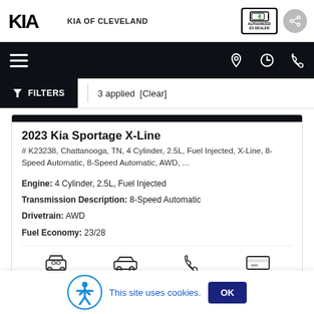KIA OF CLEVELAND
[Figure (logo): KIA logo and dealer name with Authorized EV Dealer badge and share button]
[Figure (infographic): Dark navigation bar with hamburger menu and location, clock, phone icons]
FILTERS | 3 applied [Clear]
2023 Kia Sportage X-Line
# K23238, Chattanooga, TN, 4 Cylinder, 2.5L, Fuel Injected, X-Line, 8-Speed Automatic, 8-Speed Automatic, AWD, ...
Engine: 4 Cylinder, 2.5L, Fuel Injected
Transmission Description: 8-Speed Automatic
Drivetrain: AWD
Fuel Economy: 23/28
[Figure (infographic): Row of action icons: car front view, car side view, phone, dollar/payment icon]
This site uses cookies.